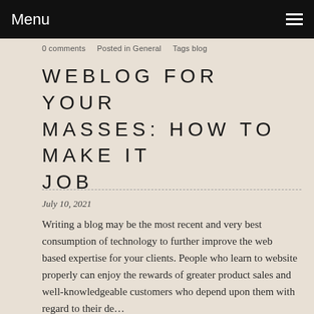Menu
0 comments    Posted in General    Tags blog
WEBLOG FOR YOUR MASSES: HOW TO MAKE IT JOB
July 10, 2021
Writing a blog may be the most recent and very best consumption of technology to further improve the web based expertise for your clients. People who learn to website properly can enjoy the rewards of greater product sales and well-knowledgeable customers who depend upon them with regard to their de…
Read more